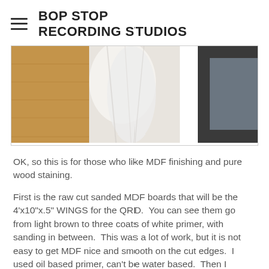BOP STOP RECORDING STUDIOS
[Figure (photo): Photo showing MDF boards on a wooden floor, with white painted panels visible, likely showing before and after of MDF finishing process.]
OK, so this is for those who like MDF finishing and pure wood staining.
First is the raw cut sanded MDF boards that will be the 4'x10"x.5" WINGS for the QRD.  You can see them go from light brown to three coats of white primer, with sanding in between.  This was a lot of work, but it is not easy to get MDF nice and smooth on the cut edges.  I used oil based primer, can't be water based.  Then I sprayed a water based Black flat paint, but was learning how to use my new paint machine, so it was thick and had to brush